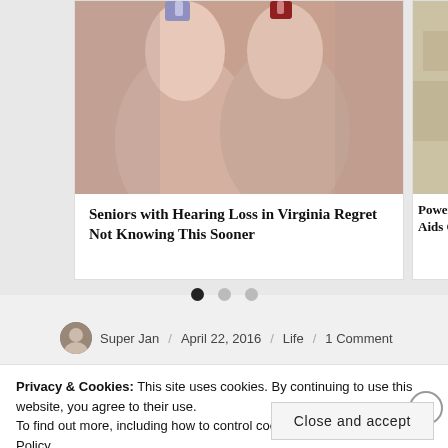[Figure (photo): Two fingers holding small hearing aid devices, close-up photo]
Seniors with Hearing Loss in Virginia Regret Not Knowing This Sooner
[Figure (photo): Partial right card image, cropped]
Powerful Aids Cru
Super Jan / April 22, 2016 / Life / 1 Comment
Privacy & Cookies: This site uses cookies. By continuing to use this website, you agree to their use.
To find out more, including how to control cookies, see here: Cookie Policy
Close and accept